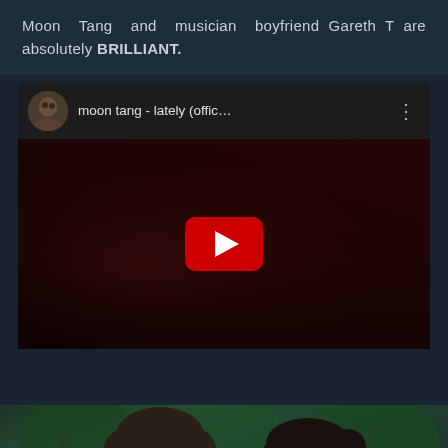Moon Tang and musician boyfriend Gareth T are absolutely BRILLIANT.
[Figure (screenshot): YouTube video embed showing 'moon tang - lately (offic...' with avatar thumbnail and red play button over dark video thumbnail background]
[Figure (photo): Photo of two people (a man with glasses and a woman) outdoors with trees in the background, with a scroll-up button overlay in the bottom right]